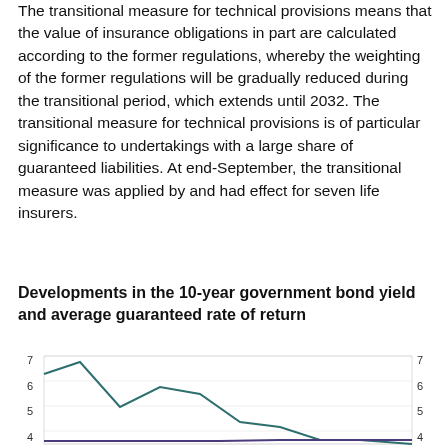The transitional measure for technical provisions means that the value of insurance obligations in part are calculated according to the former regulations, whereby the weighting of the former regulations will be gradually reduced during the transitional period, which extends until 2032. The transitional measure for technical provisions is of particular significance to undertakings with a large share of guaranteed liabilities. At end-September, the transitional measure was applied by and had effect for seven life insurers.
Developments in the 10-year government bond yield and average guaranteed rate of return
[Figure (line-chart): Partial view of a dual-axis line chart showing 10-year government bond yield (teal/dark green line) and average guaranteed rate of return (purple/dark blue line). Y-axis visible from 4 to 7 on both left and right sides. The teal line peaks around 6.5 near the left, dips, then rises to about 4.5 before declining again.]